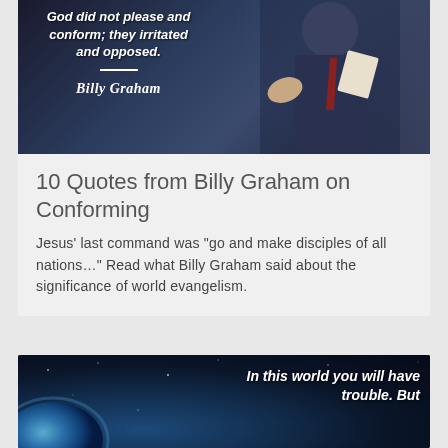[Figure (photo): Billy Graham preaching with open Bible, dark background, with overlaid quote: 'God did not please and conform; they irritated and opposed.' with Billy Graham signature]
10 Quotes from Billy Graham on Conforming
Jesus’ last command was “go and make disciples of all nations…” Read what Billy Graham said about the significance of world evangelism.
[Figure (photo): Dark space background with Earth globe at lower left, text overlay: 'In this world you will have trouble. But']